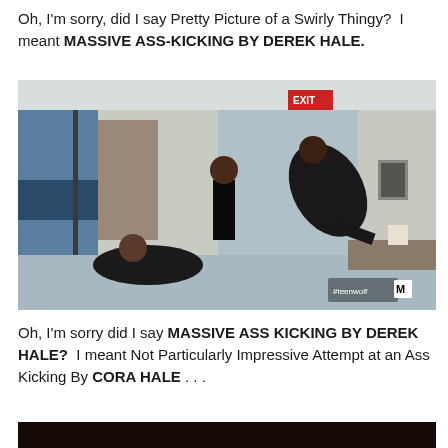Oh, I'm sorry, did I say Pretty Picture of a Swirly Thingy?  I meant MASSIVE ASS-KICKING BY DEREK HALE.
[Figure (photo): A fight scene in a hospital hallway. One person is on the floor reaching out, another person in black stands in the middle, and a third person in dark clothing is airborne/jumping. An EXIT sign is visible and an MTV #teenwolf watermark is in the lower right corner.]
Oh, I'm sorry did I say MASSIVE ASS KICKING BY DEREK HALE?  I meant Not Particularly Impressive Attempt at an Ass Kicking By CORA HALE . . .
[Figure (photo): A dark, partially visible photo at the bottom of the page.]